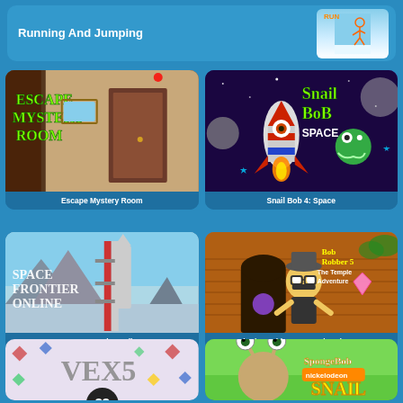[Figure (screenshot): Top banner showing Running And Jumping game card with stickman character]
[Figure (screenshot): Escape Mystery Room game card thumbnail showing room with door]
Escape Mystery Room
[Figure (screenshot): Snail Bob 4: Space game card thumbnail with rocket and alien]
Snail Bob 4: Space
[Figure (screenshot): Space Frontier Online game card thumbnail with rocket on launchpad]
Space Frontier Online
[Figure (screenshot): Bob The Robber 5: Temple Adventure game card thumbnail]
Bob The Robber 5: Temple Adventure
[Figure (screenshot): Vex 5 game card thumbnail with diamond pattern background]
[Figure (screenshot): SpongeBob Snail game card thumbnail]